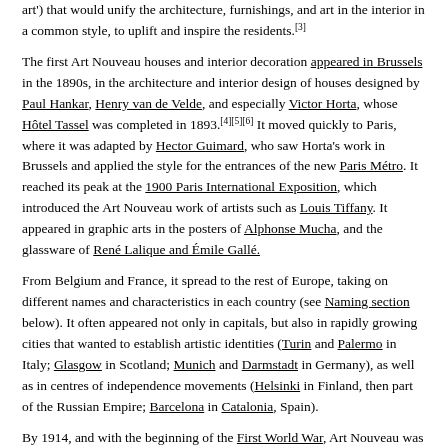art') that would unify the architecture, furnishings, and art in the interior in a common style, to uplift and inspire the residents.[3]
The first Art Nouveau houses and interior decoration appeared in Brussels in the 1890s, in the architecture and interior design of houses designed by Paul Hankar, Henry van de Velde, and especially Victor Horta, whose Hôtel Tassel was completed in 1893.[4][5][6] It moved quickly to Paris, where it was adapted by Hector Guimard, who saw Horta's work in Brussels and applied the style for the entrances of the new Paris Métro. It reached its peak at the 1900 Paris International Exposition, which introduced the Art Nouveau work of artists such as Louis Tiffany. It appeared in graphic arts in the posters of Alphonse Mucha, and the glassware of René Lalique and Émile Gallé.
From Belgium and France, it spread to the rest of Europe, taking on different names and characteristics in each country (see Naming section below). It often appeared not only in capitals, but also in rapidly growing cities that wanted to establish artistic identities (Turin and Palermo in Italy; Glasgow in Scotland; Munich and Darmstadt in Germany), as well as in centres of independence movements (Helsinki in Finland, then part of the Russian Empire; Barcelona in Catalonia, Spain).
By 1914, and with the beginning of the First World War, Art Nouveau was largely exhausted. In the 1920s, it was replaced as the dominant architectural and decorative art style by Art Deco and then Modernism.